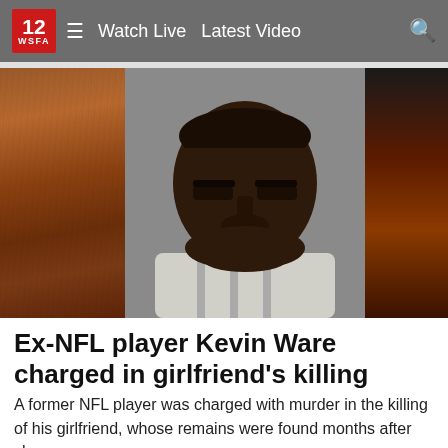12 WSFA  ☰  Watch Live  Latest Video  🔍
[Figure (photo): Mugshot-style photo of a heavyset Black man with a serious expression, wearing a striped top, against a gray background. The image is framed with a brown wooden texture panel on the left and a dark reddish-brown panel on the right.]
Ex-NFL player Kevin Ware charged in girlfriend's killing
A former NFL player was charged with murder in the killing of his girlfriend, whose remains were found months after she …
WSFA 12 News